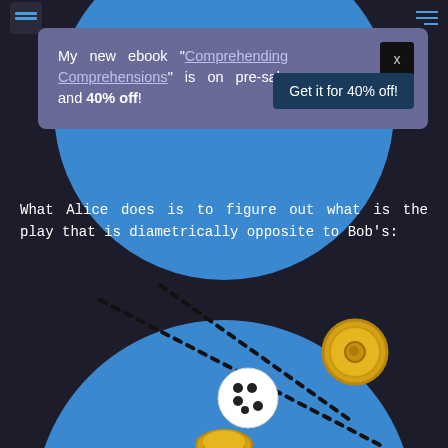Navigation header with logo and hamburger menu
My new ebook “Comprehending Comprehensions” is on pre-sale and 40% off!
Get it for 40% off!
What Alice does is to figure out what is the play that is diametrically opposite to Bob’s:
[Figure (illustration): A large blue circle with a dotted diagonal line crossing it, a gold coin in the upper right, a white circle with black dots (dice) in the center, and a partial gold coin at the bottom center.]